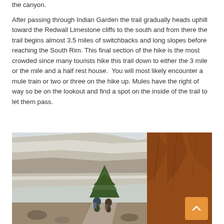the canyon.
After passing through Indian Garden the trail gradually heads uphill toward the Redwall Limestone cliffs to the south and from there the trail begins almost 3.5 miles of switchbacks and long slopes before reaching the South Rim. This final section of the hike is the most crowded since many tourists hike this trail down to either the 3 mile or the mile and a half rest house.  You will most likely encounter a mule train or two or three on the hike up. Mules have the right of way so be on the lookout and find a spot on the inside of the trail to let them pass.
[Figure (photo): Two hikers on a narrow trail in the Grand Canyon, flanked by red sandstone cliffs on the right and a sweeping canyon view with layered rock formations and a pine tree in the background on the left.]